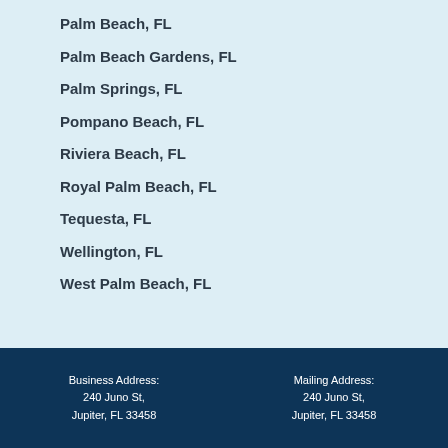Palm Beach, FL
Palm Beach Gardens, FL
Palm Springs, FL
Pompano Beach, FL
Riviera Beach, FL
Royal Palm Beach, FL
Tequesta, FL
Wellington, FL
West Palm Beach, FL
Business Address: 240 Juno St, Jupiter, FL 33458   Mailing Address: 240 Juno St, Jupiter, FL 33458